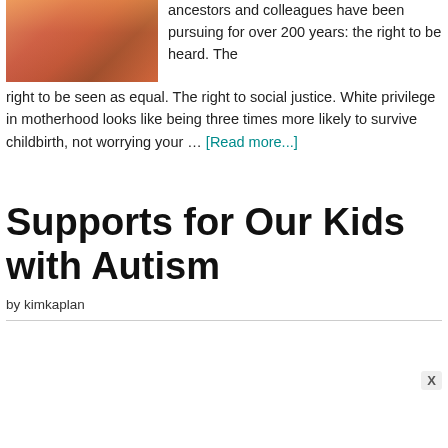[Figure (photo): Photo of two children close together, colorful clothing, warm tones]
ancestors and colleagues have been pursuing for over 200 years: the right to be heard. The right to be seen as equal. The right to social justice. White privilege in motherhood looks like being three times more likely to survive childbirth, not worrying your … [Read more...]
Supports for Our Kids with Autism
by kimkaplan